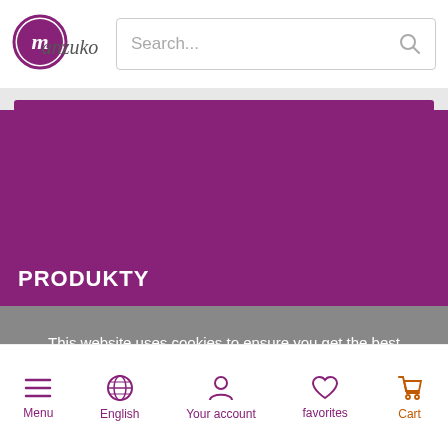[Figure (logo): Manzuko logo — stylized letter M in a purple circle followed by 'anzuko' in cursive]
Search...
PRODUKTY
This website uses cookies to ensure you get the best experience on our website
ABOUT COOKIES
Menu | English | Your account | favorites | Cart